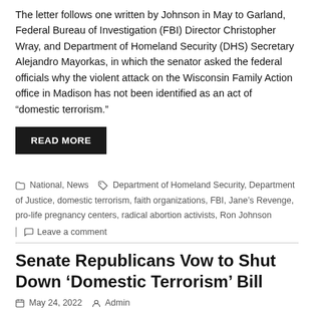The letter follows one written by Johnson in May to Garland, Federal Bureau of Investigation (FBI) Director Christopher Wray, and Department of Homeland Security (DHS) Secretary Alejandro Mayorkas, in which the senator asked the federal officials why the violent attack on the Wisconsin Family Action office in Madison has not been identified as an act of “domestic terrorism.”
READ MORE
National, News  Department of Homeland Security, Department of Justice, domestic terrorism, faith organizations, FBI, Jane’s Revenge, pro-life pregnancy centers, radical abortion activists, Ron Johnson
Leave a comment
Senate Republicans Vow to Shut Down ‘Domestic Terrorism’ Bill
May 24, 2022  Admin